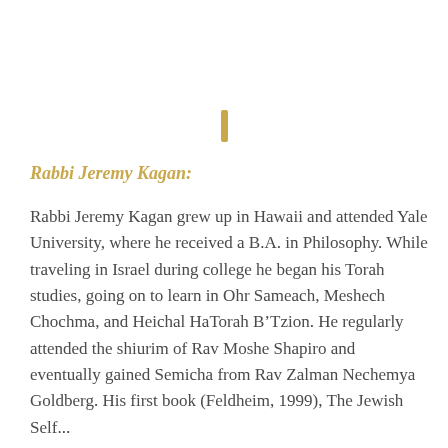[Figure (illustration): Small gold ornamental vertical bar/divider centered on the page]
Rabbi Jeremy Kagan:
Rabbi Jeremy Kagan grew up in Hawaii and attended Yale University, where he received a B.A. in Philosophy. While traveling in Israel during college he began his Torah studies, going on to learn in Ohr Sameach, Meshech Chochma, and Heichal HaTorah B’Tzion. He regularly attended the shiurim of Rav Moshe Shapiro and eventually gained Semicha from Rav Zalman Nechemya Goldberg. His first book (Feldheim, 1999), The Jewish Self...